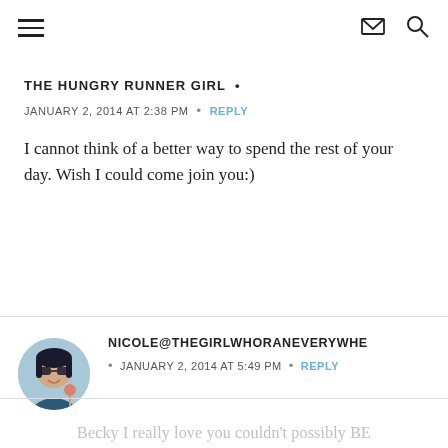Navigation header with hamburger menu, email icon, and search icon
THE HUNGRY RUNNER GIRL •
JANUARY 2, 2014 AT 2:38 PM • REPLY
I cannot think of a better way to spend the rest of your day. Wish I could come join you:)
[Figure (photo): Circular avatar photo of Nicole, a woman wearing sunglasses]
NICOLE@THEGIRLWHORANEVERYWHE
• JANUARY 2, 2014 AT 5:49 PM • REPLY
Becky I really love you couldn't possibly BE